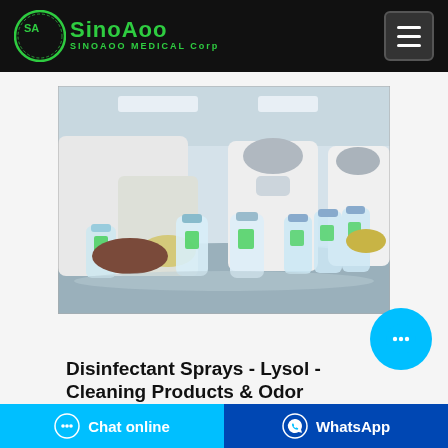SinoAoo SINOAOO MEDICAL Corp
[Figure (photo): Workers in white lab coats, hairnets and masks filling or handling clear plastic bottles in a clean room manufacturing facility. Multiple water/sanitizer bottles visible on a steel table.]
Disinfectant Sprays - Lysol - Cleaning Products & Odor
Chat online | WhatsApp